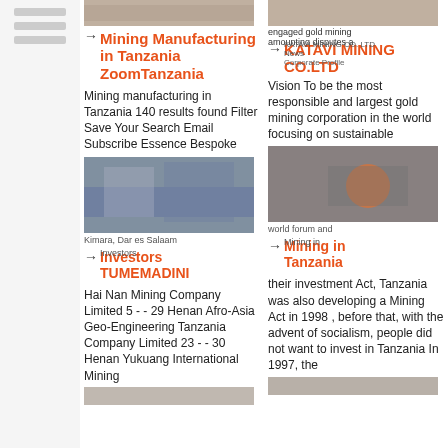[Figure (photo): Top image of mining facility left column]
[Figure (photo): Top image of mining facility right column]
Mining Manufacturing in Tanzania ZoomTanzania
KATAVI MINING CO.LTD
KATAVI MINING CO. LTD News Corporate Profile
engaged gold mining amounting disputes a KATAVI MINING CO. LTD
Mining manufacturing in Tanzania 140 results found Filter Save Your Search Email Subscribe Essence Bespoke
Vision To be the most responsible and largest gold mining corporation in the world focusing on sustainable
[Figure (photo): Industrial mining equipment photo left column]
[Figure (photo): Mining worker with equipment right column]
Investors TUMEMADINI
Mining in Tanzania
Kimara, Dar es Salaam 0744...
world forum and enable whether to do their investment Act, Tanzania was also developing a Mining Act in 1998 , before that, with the advent of socialism, people did not want to invest in Tanzania In 1997, the
Hai Nan Mining Company Limited 5 - - 29 Henan Afro-Asia Geo-Engineering Tanzania Company Limited 23 - - 30 Henan Yukuang International Mining
[Figure (photo): Bottom partial image left column]
[Figure (photo): Bottom partial image right column]